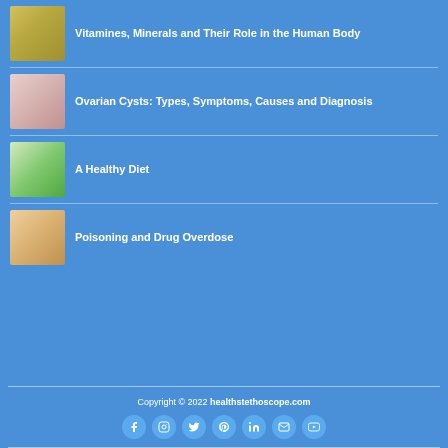[Figure (photo): Vitamins and supplements photo with stethoscope]
Vitamines, Minerals and Their Role in the Human Body
[Figure (photo): Medical image related to ovarian cysts with doctor hands]
Ovarian Cysts: Types, Symptoms, Causes and Diagnosis
[Figure (photo): Doctor with stethoscope holding vegetables - healthy diet]
A Healthy Diet
[Figure (photo): Hands with pills - poisoning and drug overdose]
Poisoning and Drug Overdose
Copyright © 2022 healthstethoscope.com